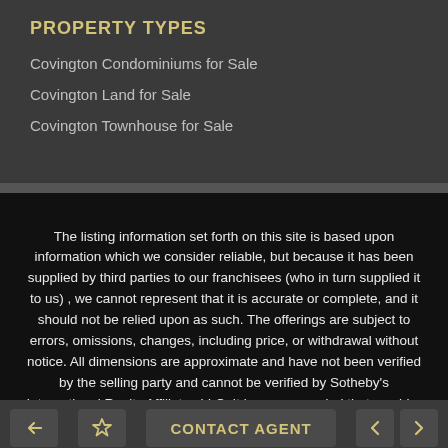PROPERTY TYPES
Covington Condominiums for Sale
Covington Land for Sale
Covington Townhouse for Sale
The listing information set forth on this site is based upon information which we consider reliable, but because it has been supplied by third parties to our franchisees (who in turn supplied it to us) , we cannot represent that it is accurate or complete, and it should not be relied upon as such. The offerings are subject to errors, omissions, changes, including price, or withdrawal without notice. All dimensions are approximate and have not been verified by the selling party and cannot be verified by Sotheby's International Realty Affiliates LLC. It is recommended that you hire a professional in the business of determining dimensions, such as an appraiser, architect or civil engineer, to determine such
CONTACT AGENT